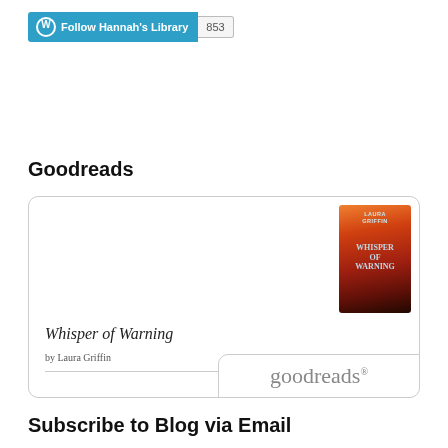[Figure (other): WordPress Follow button for Hannah's Library with follower count 853]
Goodreads
[Figure (screenshot): Goodreads widget showing book 'Whisper of Warning' by Laura Griffin with book cover image and goodreads logo]
Subscribe to Blog via Email